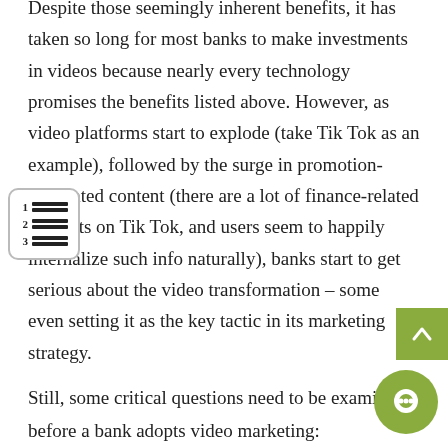Despite those seemingly inherent benefits, it has taken so long for most banks to make investments in videos because nearly every technology promises the benefits listed above. However, as video platforms start to explode (take Tik Tok as an example), followed by the surge in promotion-integrated content (there are a lot of finance-related contents on Tik Tok, and users seem to happily internalize such info naturally), banks start to get serious about the video transformation – some even setting it as the key tactic in its marketing strategy. Still, some critical questions need to be examined before a bank adopts video marketing: